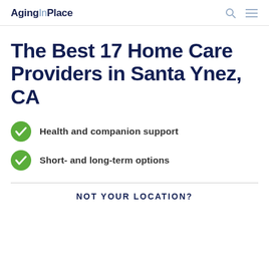AgingInPlace
The Best 17 Home Care Providers in Santa Ynez, CA
Health and companion support
Short- and long-term options
NOT YOUR LOCATION?